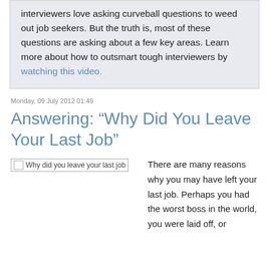interviewers love asking curveball questions to weed out job seekers. But the truth is, most of these questions are asking about a few key areas. Learn more about how to outsmart tough interviewers by watching this video.
Monday, 09 July 2012 01:49
Answering: “Why Did You Leave Your Last Job”
[Figure (photo): Broken image placeholder with alt text 'Why did you leave your last job']
There are many reasons why you may have left your last job. Perhaps you had the worst boss in the world, you were laid off, or